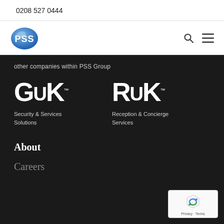0208 527 0444
[Figure (logo): PSS logo - blue oval with PSS letters in white]
other companies within PSS Group
[Figure (logo): GUK logo - large white bold letters, Security & Services Solutions]
[Figure (logo): RUK logo - large white bold letters, Reception & Concierge Services]
About
Careers
[Figure (other): Google reCAPTCHA badge with Privacy and Terms links]